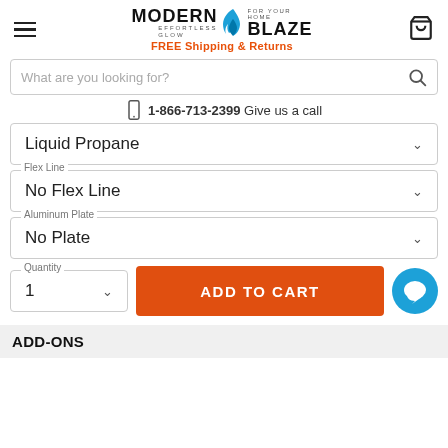[Figure (logo): Modern Blaze logo with flame icon and 'FREE Shipping & Returns' tagline]
What are you looking for?
1-866-713-2399 Give us a call
Liquid Propane
Flex Line
No Flex Line
Aluminum Plate
No Plate
Quantity
1
ADD TO CART
ADD-ONS